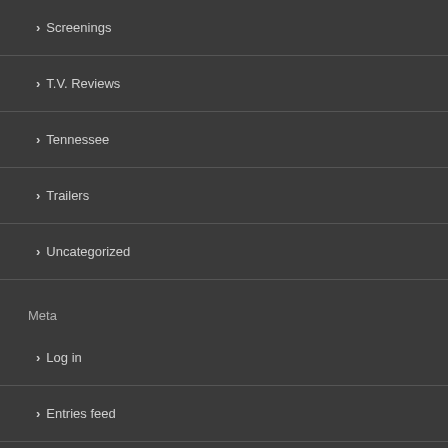Screenings
T.V. Reviews
Tennessee
Trailers
Uncategorized
Meta
Log in
Entries feed
Comments feed
WordPress.org